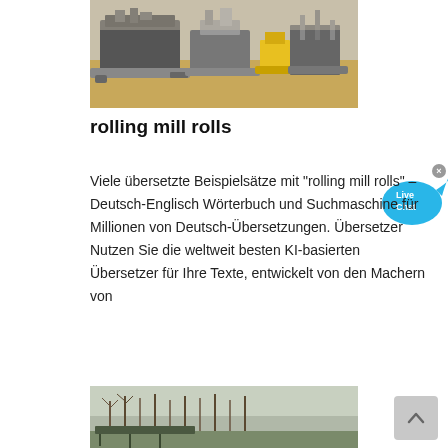[Figure (photo): Construction site with heavy machinery and equipment on sandy/dirt ground]
rolling mill rolls
Viele übersetzte Beispielsätze mit "rolling mill rolls" – Deutsch-Englisch Wörterbuch und Suchmaschine für Millionen von Deutsch-Übersetzungen. Übersetzer Nutzen Sie die weltweit besten KI-basierten Übersetzer für Ihre Texte, entwickelt von den Machern von
[Figure (photo): Outdoor scene with bare trees and landscape]
[Figure (screenshot): Live Chat button widget]